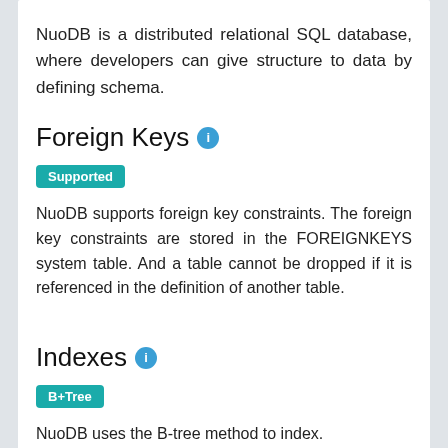NuoDB is a distributed relational SQL database, where developers can give structure to data by defining schema.
Foreign Keys
Supported
NuoDB supports foreign key constraints. The foreign key constraints are stored in the FOREIGNKEYS system table. And a table cannot be dropped if it is referenced in the definition of another table.
Indexes
B+Tree
NuoDB uses the B-tree method to index.